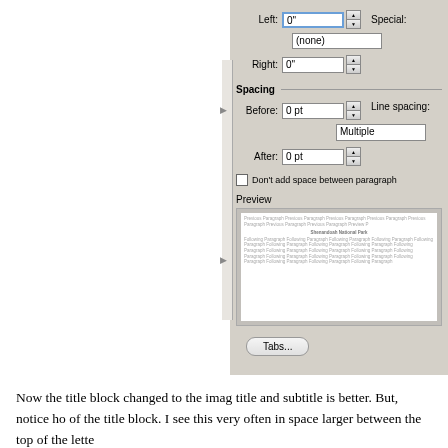[Figure (screenshot): Word paragraph dialog box showing indentation fields (Left: 0", Right: 0"), Special (none), Spacing section with Before: 0 pt, After: 0 pt, Line spacing: Multiple, a checkbox for Don't add space between paragraphs, a Preview section showing sample paragraph text, and a Tabs... button]
Now the title block changed to the image title and subtitle is better. But, notice how of the title block. I see this very often in space larger between the top of the lette